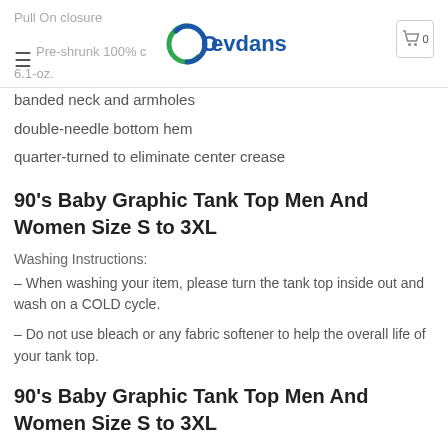Pull On closure | Pre-shrunk 100% c | 6.1-oz. | Oevdans logo | Cart 0
banded neck and armholes
double-needle bottom hem
quarter-turned to eliminate center crease
90's Baby Graphic Tank Top Men And Women Size S to 3XL
Washing Instructions:
– When washing your item, please turn the tank top inside out and wash on a COLD cycle.
– Do not use bleach or any fabric softener to help the overall life of your tank top.
90's Baby Graphic Tank Top Men And Women Size S to 3XL
Unisex Size Chart: